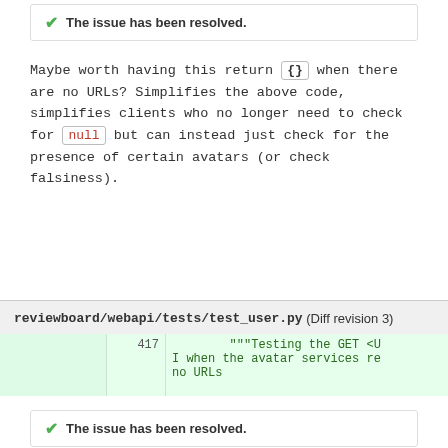The issue has been resolved.
Maybe worth having this return {} when there are no URLs? Simplifies the above code, simplifies clients who no longer need to check for null but can instead just check for the presence of certain avatars (or check falsiness).
reviewboard/webapi/tests/test_user.py (Diff revision 3)
417   """Testing the GET <U... I when the avatar services re... no URLs
The issue has been resolved.
Plurals are wrong here. "avatar service"?